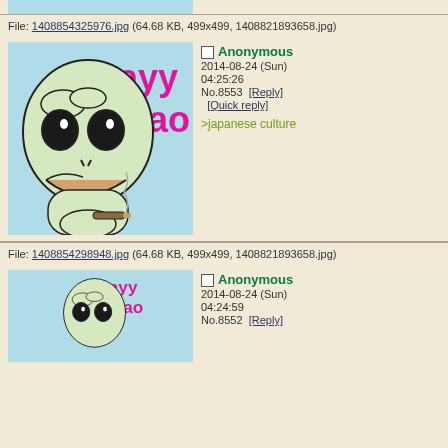File: 1408854325976.jpg (64.68 KB, 499x499, 1408821893658.jpg)
[Figure (illustration): Pepe the Frog meme with 'ayy lmao' text on light blue background, smoking a blunt]
Anonymous 2014-08-24 (Sun) 04:25:26 No.8553 [Reply] [Quick reply]
>japanese culture
File: 1408854298948.jpg (64.68 KB, 499x499, 1408821893658.jpg)
[Figure (illustration): Pepe the Frog meme partial view with 'ayy lmao' text on light blue background]
Anonymous 2014-08-24 (Sun) 04:24:59 No.8552 [Reply]